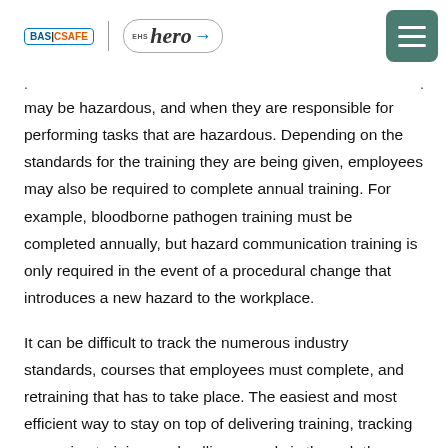BASICSAFE | EHS hero
may be hazardous, and when they are responsible for performing tasks that are hazardous. Depending on the standards for the training they are being given, employees may also be required to complete annual training. For example, bloodborne pathogen training must be completed annually, but hazard communication training is only required in the event of a procedural change that introduces a new hazard to the workplace.
It can be difficult to track the numerous industry standards, courses that employees must complete, and retraining that has to take place. The easiest and most efficient way to stay on top of delivering training, tracking upcoming training, and pulling records is through the use of